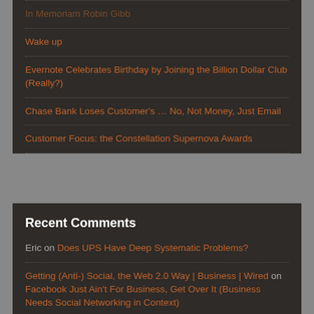In Memoriam Robin Gibb
Wake up
Evernote Celebrates Birthday by Joining the Billion Dollar Club (Really?)
Chase Bank Loses Customer's … No, Not Money, Just Email
Customer Focus: the Constellation Supernova Awards
Recent Comments
Eric on Does UPS Have Deep Systematic Problems?
Getting (Anti-) Social, the Web 2.0 Way | Business | Wired on Facebook Just Ain't For Business, Get Over It (Business Needs Social Networking in Context)
Twitter Once Again Delivers Breaking News First - AccuraCast on LA Earthquake: Twitter Reports First – Again, Fake Video